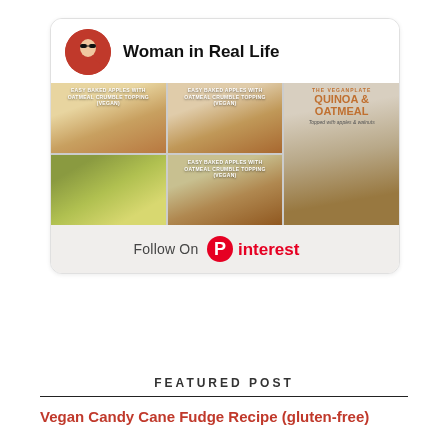[Figure (screenshot): Pinterest widget card showing 'Woman in Real Life' profile with food photos grid and Follow On Pinterest button]
FEATURED POST
Vegan Candy Cane Fudge Recipe (gluten-free)